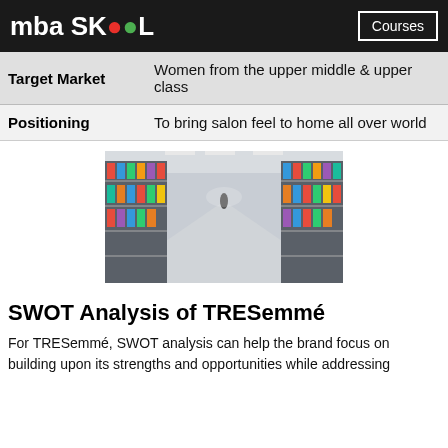mba SKOOL  Courses
| Target Market | Women from the upper middle & upper class |
| Positioning | To bring salon feel to home all over world |
[Figure (photo): Interior of a retail store aisle with shelves of products on both sides, perspective view toward the back of the store.]
SWOT Analysis of TRESemmé
For TRESemmé, SWOT analysis can help the brand focus on building upon its strengths and opportunities while addressing